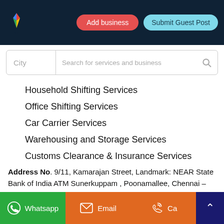[Figure (logo): Google Maps style pin logo with multicolor (red, green, blue, yellow) diamond pattern]
Add business
Submit Guest Post
City
Search for services and business
Household Shifting Services
Office Shifting Services
Car Carrier Services
Warehousing and Storage Services
Customs Clearance & Insurance Services
Address No. 9/11, Kamarajan Street, Landmark: NEAR State Bank of India ATM Sunerkuppam , Poonamallee, Chennai –
Whatsapp
Email
Call